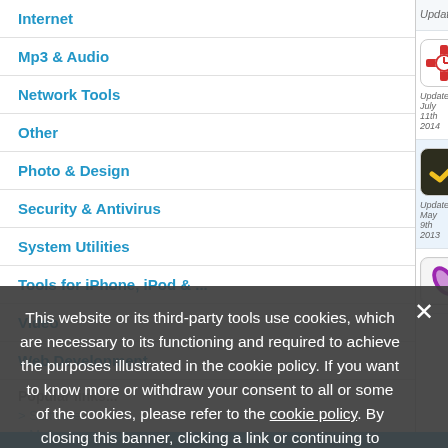Internet
Mp3 & Audio
Network Tools
Other
Photo & Design
Security & Antivirus
System Utilities
Tools for iPhone, iPod & ...
Video
Web Development
Updated: February 3rd 2012
RescueTime 2.4 Free to try — RescueTime gives you an accurate pictu...
Updated: July 11th 2014
Anxiety 1.0 Free — Anxiety is a super-lightweight To-do list a...
Updated: May 9th 2013
Vitamin-R 1.88 Free to try — Personal productivity tool; focus on one t...
Popular links...
This website or its third-party tools use cookies, which are necessary to its functioning and required to achieve the purposes illustrated in the cookie policy. If you want to know more or withdraw your consent to all or some of the cookies, please refer to the cookie policy. By closing this banner, clicking a link or continuing to browse otherwise, you agree to the use of cookies.